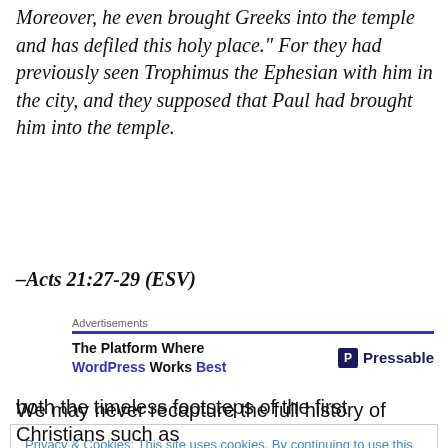Moreover, he even brought Greeks into the temple and has defiled this holy place." For they had previously seen Trophimus the Ephesian with him in the city, and they supposed that Paul had brought him into the temple.
–Acts 21:27-29 (ESV)
[Figure (other): Advertisements banner: 'The Platform Where WordPress Works Best' with Pressable logo]
We may never recapture the full history of what the
Privacy & Cookies: This site uses cookies. By continuing to use this website, you agree to their use.
To find out more, including how to control cookies, see here: Cookie Policy
both the timeless footsteps of the first Christians such as